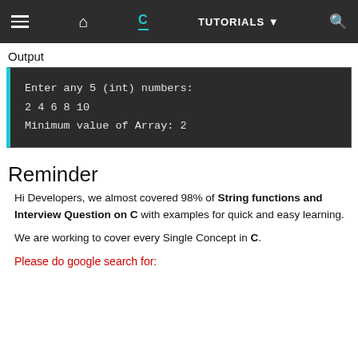≡  🏠  C  TUTORIALS ▼  🔍
Output
[Figure (screenshot): Dark terminal output box showing: Enter any 5 (int) numbers: / 2 4 6 8 10 / Minimum value of Array: 2]
Reminder
Hi Developers, we almost covered 98% of String functions and Interview Question on C with examples for quick and easy learning.
We are working to cover every Single Concept in C.
Please do google search for: